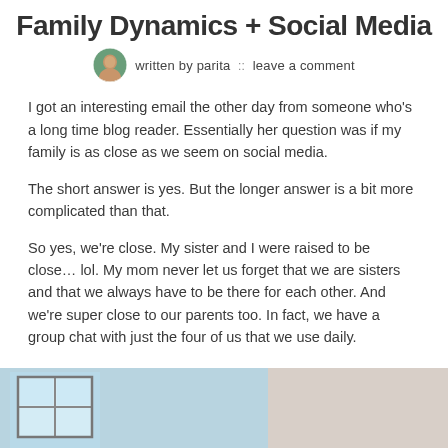Family Dynamics + Social Media
written by parita :: leave a comment
I got an interesting email the other day from someone who's a long time blog reader. Essentially her question was if my family is as close as we seem on social media.
The short answer is yes. But the longer answer is a bit more complicated than that.
So yes, we're close. My sister and I were raised to be close… lol. My mom never let us forget that we are sisters and that we always have to be there for each other. And we're super close to our parents too. In fact, we have a group chat with just the four of us that we use daily.
[Figure (photo): Partial interior photo showing a window with blue/teal walls on the left and a beige/neutral wall on the right, bottom portion cropped.]